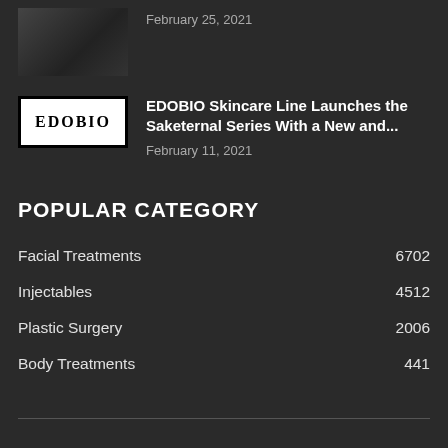[Figure (photo): Small thumbnail image of a dark interior scene, partially visible at top left]
February 25, 2021
[Figure (logo): EDOBIO logo in black and white]
EDOBIO Skincare Line Launches the Saketernal Series With a New and...
February 11, 2021
POPULAR CATEGORY
Facial Treatments  6702
Injectables  4512
Plastic Surgery  2006
Body Treatments  441